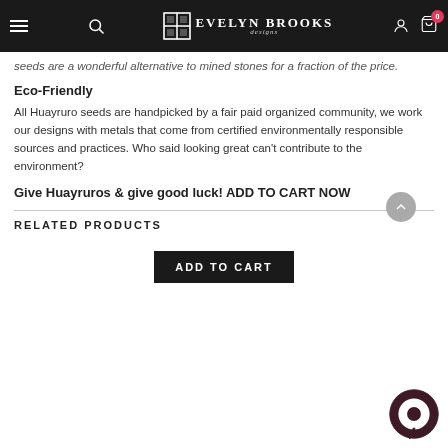Evelyn Brooks designs
seeds are a wonderful alternative to mined stones for a fraction of the price.
Eco-Friendly
All Huayruro seeds are handpicked by a fair paid organized community, we work our designs with metals that come from certified environmentally responsible sources and practices. Who said looking great can't contribute to the environment?
Give Huayruros & give good luck! ADD TO CART NOW
RELATED PRODUCTS
[Figure (screenshot): Add to Cart button]
[Figure (other): Chat support bubble icon]